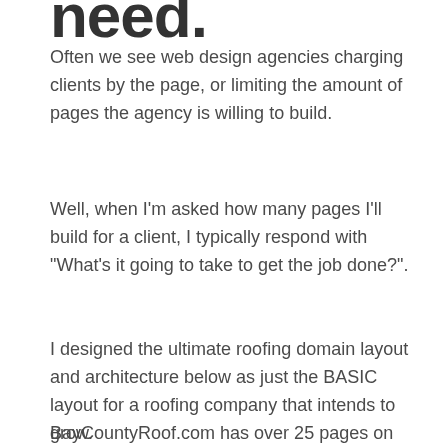need.
Often we see web design agencies charging clients by the page, or limiting the amount of pages the agency is willing to build.
Well, when I'm asked how many pages I'll build for a client, I typically respond with “What’s it going to take to get the job done?”.
I designed the ultimate roofing domain layout and architecture below as just the BASIC layout for a roofing company that intends to grow.
BayCountyRoof.com has over 25 pages on